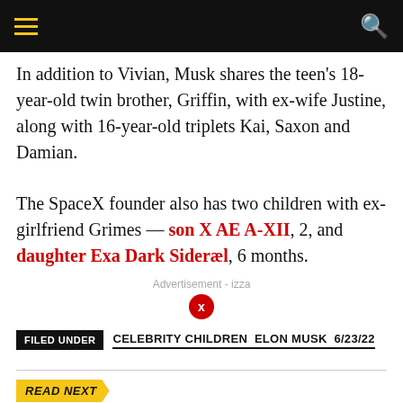Navigation bar with hamburger menu and search icon
In addition to Vivian, Musk shares the teen's 18-year-old twin brother, Griffin, with ex-wife Justine, along with 16-year-old triplets Kai, Saxon and Damian.
The SpaceX founder also has two children with ex-girlfriend Grimes — son X AE A-XII, 2, and daughter Exa Dark Sideræl, 6 months.
Advertisement - izza
FILED UNDER CELEBRITY CHILDRENELON MUSK6/23/22
READ NEXT
Naomi Campbell dodges wardrobe malfunction in completely o...